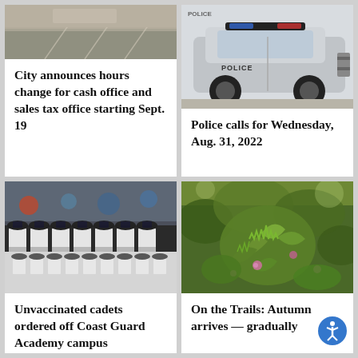[Figure (photo): Aerial or street view of a road/parking area]
City announces hours change for cash office and sales tax office starting Sept. 19
[Figure (photo): Police car parked on street]
Police calls for Wednesday, Aug. 31, 2022
[Figure (photo): Rows of cadets in uniform caps at Coast Guard Academy]
Unvaccinated cadets ordered off Coast Guard Academy campus
[Figure (photo): Green leafy plants with small pink flowers on a trail in autumn]
On the Trails: Autumn arrives — gradually